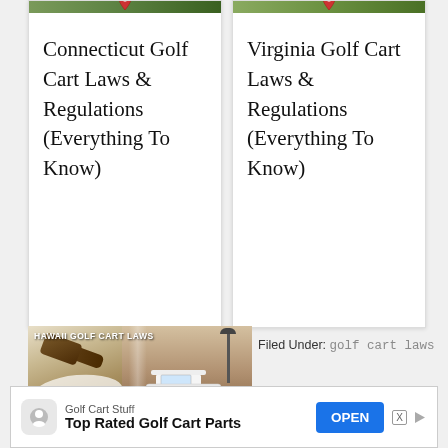[Figure (screenshot): Two card-style article links showing 'Connecticut Golf Cart Laws & Regulations (Everything To Know)' and 'Virginia Golf Cart Laws & Regulations (Everything To Know)' with landscape banner images at top]
Connecticut Golf Cart Laws & Regulations (Everything To Know)
Virginia Golf Cart Laws & Regulations (Everything To Know)
Filed Under: golf cart laws
[Figure (photo): Hawaii Golf Cart Laws thumbnail image with a gavel and law book on left, golf cart image on right, with 'HAWAII GOLF CART LAWS' text overlay and GolfCartReport.com watermark]
[Figure (screenshot): Ad banner for 'Golf Cart Stuff' with headline 'Top Rated Golf Cart Parts' and an OPEN button]